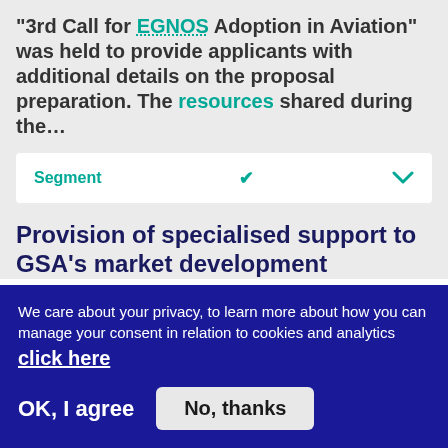"3rd Call for EGNOS Adoption in Aviation" was held to provide applicants with additional details on the proposal preparation. The resources shared during the...
Segment
Provision of specialised support to GSA's market development
Segment
We care about your privacy, to learn more about how you can manage your consent in relation to cookies and analytics click here
OK, I agree
No, thanks